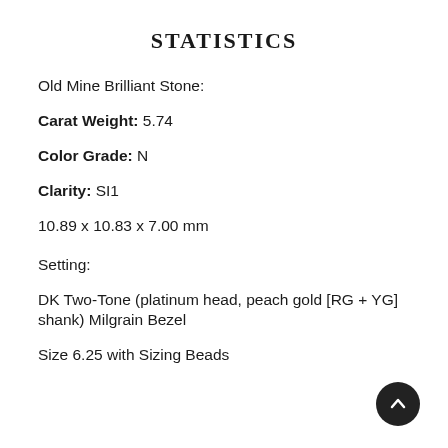STATISTICS
Old Mine Brilliant Stone:
Carat Weight: 5.74
Color Grade: N
Clarity: SI1
10.89 x 10.83 x 7.00 mm
Setting:
DK Two-Tone (platinum head, peach gold [RG + YG] shank) Milgrain Bezel
Size 6.25 with Sizing Beads